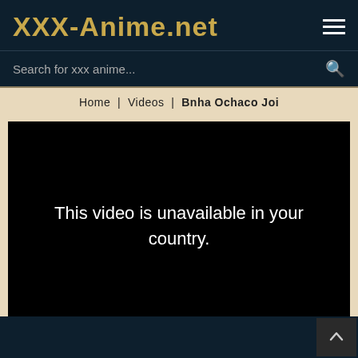XXX-Anime.net
Search for xxx anime...
Home | Videos | Bnha Ochaco Joi
[Figure (screenshot): Black video player area with white text: This video is unavailable in your country.]
WATCH FULLSCREEN